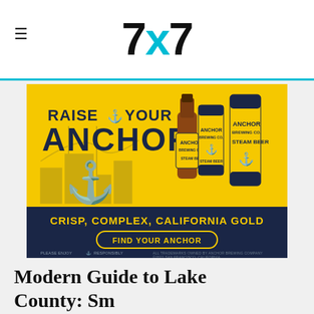7x7
[Figure (photo): Anchor Steam Beer advertisement. Yellow and dark navy blue background. Text reads: RAISE YOUR ANCHOR. CRISP, COMPLEX, CALIFORNIA GOLD. FIND YOUR ANCHOR. PLEASE ENJOY RESPONSIBLY. ALL TRADEMARKS OWNED BY ANCHOR BREWING COMPANY ©2022 SAN FRANCISCO, CALIFORNIA. Shows bottle and cans of Anchor Steam Beer.]
Modern Guide to Lake County: Small Town Charm, Volcanic Wines + Outdoor Life